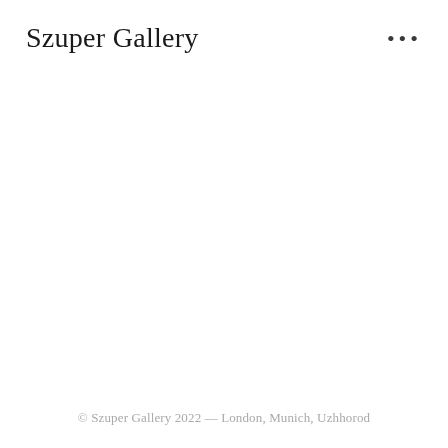Szuper Gallery
© Szuper Gallery 2022 — London, Munich, Uzhhorod